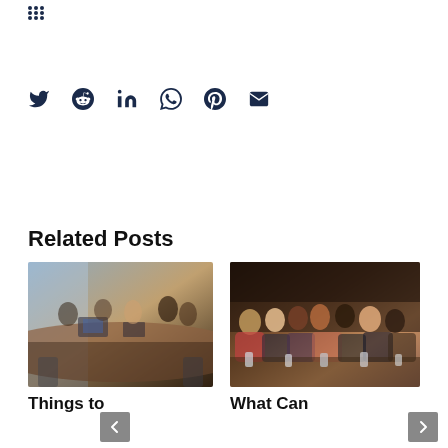[Figure (other): Grid/dots icon in dark navy blue, top left corner]
[Figure (other): Social sharing icons row: Twitter, Reddit, LinkedIn, WhatsApp, Pinterest, Email — all in dark navy blue]
Related Posts
[Figure (photo): Photo of people sitting around a conference table with laptops, meeting room setting]
Things to
[Figure (photo): Photo of an audience seated at tables in a conference or seminar setting]
What Can